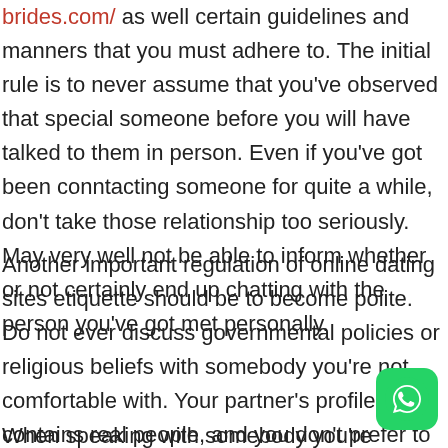brides.com/ as well certain guidelines and manners that you must adhere to. The initial rule is to never assume that you've observed that special someone before you will have talked to them in person. Even if you've got been conntacting someone for quite a while, don't take those relationship too seriously. May very well not be able to inform whether or not certainly end up chatting with the person you've got met personally.
Another important regulation of online dating sites etiquette should be to become polite. Do not ever discuss governmental policies or religious beliefs with somebody you're not comfortable with. Your partner's profile contains real people, and you don't prefer to start a virtual debate regarding it. You should reply to all messages with respect and courtesy, even if you no longer really like these people. Don't be as well quick to dismiss communications or let them have false optimism.
When speaking with somebody you're interested in, it is critical to be
[Figure (illustration): WhatsApp icon button — green rounded square with white phone handset in speech bubble]